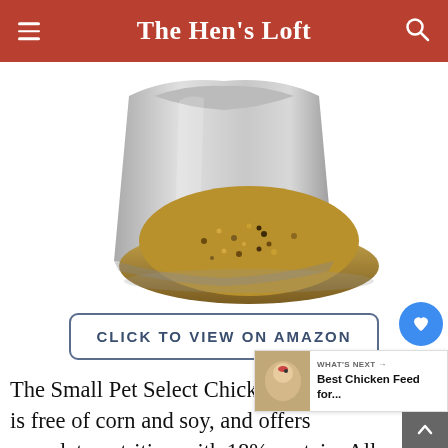The Hen's Loft
[Figure (photo): A silver mylar bag of chicken feed with a pile of mixed grain/feed spilling out in front of it on a white background.]
CLICK TO VIEW ON AMAZON
The Small Pet Select Chicken Layer Feed is free of corn and soy, and offers complete nutrition with 18% protein. All the ingredients are organic, non-GMO, and grown locally in